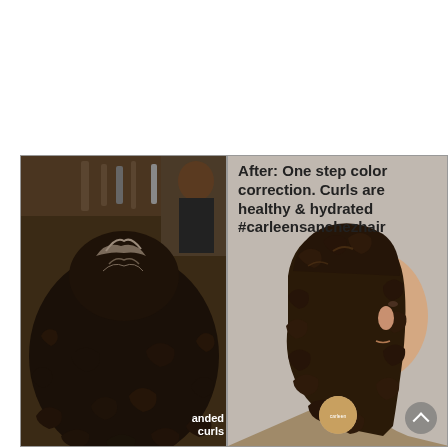[Figure (photo): Before and after comparison of curly hair color correction. Left panel shows the back of a head with frizzy, damaged, highlighted curly hair in a salon. Right panel shows the same person from the side with healthy, hydrated, defined dark brown curls after a one-step color correction treatment. The after panel has overlaid text reading 'After: One step color correction. Curls are healthy & hydrated #carleensanchezhair'. The before panel has a watermark with 'anded curls' visible. There is a circular scroll button on the bottom right of the after panel.]